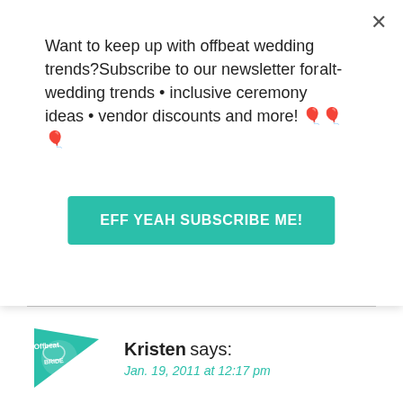Want to keep up with offbeat wedding trends?Subscribe to our newsletter for—alt-wedding trends • inclusive ceremony ideas • vendor discounts and more! 🎈🎈🎈
EFF YEAH SUBSCRIBE ME!
[Figure (logo): Offbeat Bride logo — teal pennant flag with text]
Kristen says:
Jan. 19, 2011 at 12:17 pm
The timing of this post couldn't be more perfect for me. I just registered for a honeymoon, and the site we used has the option to itemize particular things or activities (dinner for two, horseback riding, etc), which we opted to do precisely for the reason that we didn't want people to think we were just asking for a handout.
I heard from a friend that her own fiance had asked, upon